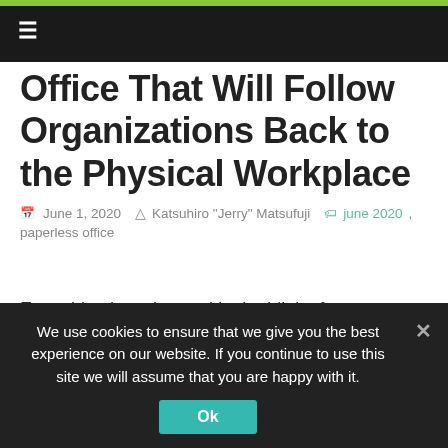≡
Office That Will Follow Organizations Back to the Physical Workplace
June 1, 2020   Katsuhiro "Jerry" Matsufuji   june 2020, paperless office
Everything has changed in the blink of an eye, including the way people live, work, eat and play. Over the past few months, the pandemic has rapidly accelerated global
We use cookies to ensure that we give you the best experience on our website. If you continue to use this site we will assume that you are happy with it.